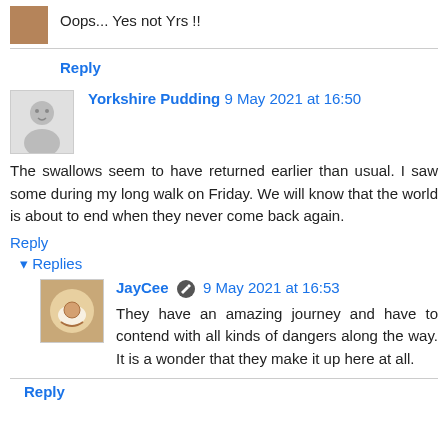Oops... Yes not Yrs !!
Reply
Yorkshire Pudding 9 May 2021 at 16:50
The swallows seem to have returned earlier than usual. I saw some during my long walk on Friday. We will know that the world is about to end when they never come back again.
Reply
Replies
JayCee 9 May 2021 at 16:53
They have an amazing journey and have to contend with all kinds of dangers along the way. It is a wonder that they make it up here at all.
Reply